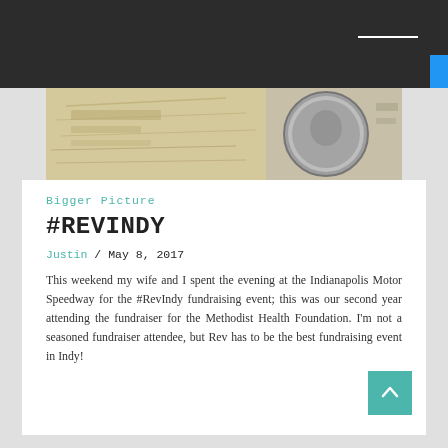[Figure (photo): Close-up photograph of US dollar bills and coin, monochrome/sepia tones]
Bigger Picture
#REVINDY
Justin / May 8, 2017
This weekend my wife and I spent the evening at the Indianapolis Motor Speedway for the #RevIndy fundraising event; this was our second year attending the fundraiser for the Methodist Health Foundation. I'm not a seasoned fundraiser attendee, but Rev has to be the best fundraising event in Indy!